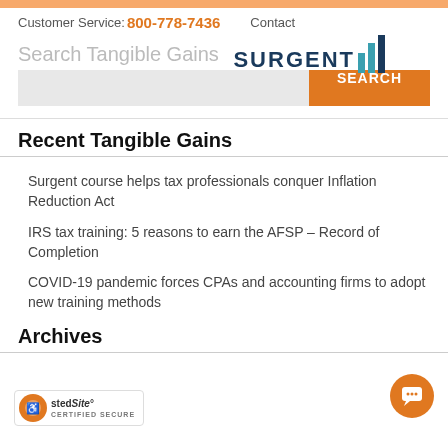Customer Service: 800-778-7436   Contact
[Figure (logo): Surgent logo with bar chart icon in teal/dark blue]
Search Tangible Gains
Recent Tangible Gains
Surgent course helps tax professionals conquer Inflation Reduction Act
IRS tax training: 5 reasons to earn the AFSP – Record of Completion
COVID-19 pandemic forces CPAs and accounting firms to adopt new training methods
Archives